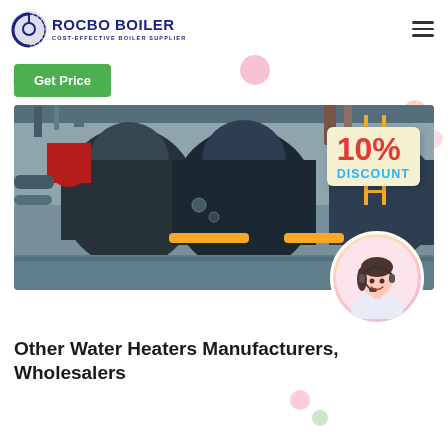[Figure (logo): Rocbo Boiler logo with circular icon and text 'ROCBO BOILER / COST-EFFECTIVE BOILER SUPPLIER']
Get Price
[Figure (photo): Industrial boiler equipment photo showing large dark cylindrical boilers in a facility, with a 10% DISCOUNT tag overlay and a customer service representative in a circular frame]
Other Water Heaters Manufacturers, Wholesalers